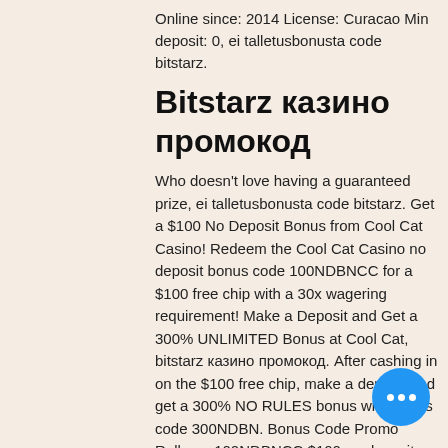Online since: 2014 License: Curacao Min deposit: 0, ei talletusbonusta code bitstarz.
Bitstarz казино промокод
Who doesn't love having a guaranteed prize, ei talletusbonusta code bitstarz. Get a $100 No Deposit Bonus from Cool Cat Casino! Redeem the Cool Cat Casino no deposit bonus code 100NDBNCC for a $100 free chip with a 30x wagering requirement! Make a Deposit and Get a 300% UNLIMITED Bonus at Cool Cat, bitstarz казино промокод. After cashing in on the $100 free chip, make a deposit and get a 300% NO RULES bonus with bonus code 300NDBN. Bonus Code Promo Rollover 100NDBNCC $100 no deposit bonus, $100 max cash out 30x on Slots & Keno only 300NDBN 300% deposit bonus, no rules, no max cashout, no max deposit, "sticky" No wagering requirements, Slots & Keno only. $30 min deposit TWOWISHES $15 no
[Figure (other): Blue circular chat button with three white dots]